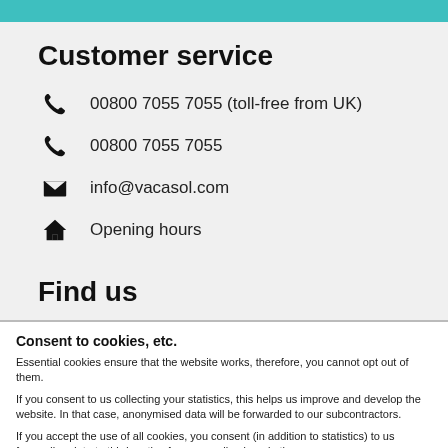Customer service
00800 7055 7055 (toll-free from UK)
00800 7055 7055
info@vacasol.com
Opening hours
Find us
Consent to cookies, etc.
Essential cookies ensure that the website works, therefore, you cannot opt out of them.
If you consent to us collecting your statistics, this helps us improve and develop the website. In that case, anonymised data will be forwarded to our subcontractors.
If you accept the use of all cookies, you consent (in addition to statistics) to us forwarding data to third parties for personalised marketing purposes.
You can change or withdraw your consent regarding statistics and/or marketing at any given time.
Only essential | Essential and statistics | All
Show details